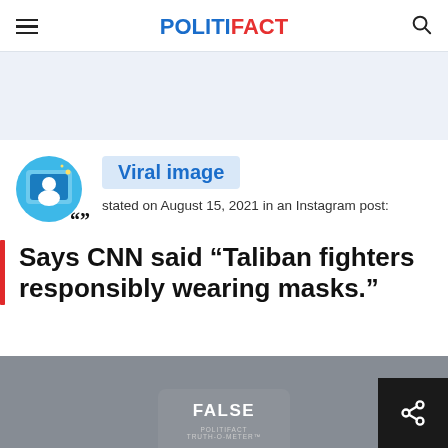POLITIFACT
[Figure (illustration): Viral image icon — circular illustration of a person with a speech bubble, with large quotation marks overlay]
Viral image
stated on August 15, 2021 in an Instagram post:
Says CNN said “Taliban fighters responsibly wearing masks.”
[Figure (illustration): FALSE verdict badge from PolitiFact Truth-O-Meter at the bottom of the page]